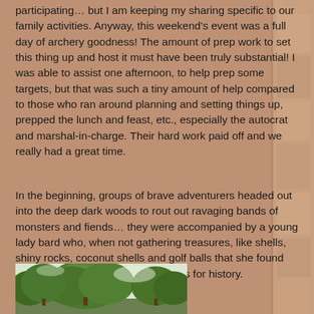participating… but I am keeping my sharing specific to our family activities. Anyway, this weekend's event was a full day of archery goodness! The amount of prep work to set this thing up and host it must have been truly substantial! I was able to assist one afternoon, to help prep some targets, but that was such a tiny amount of help compared to those who ran around planning and setting things up, prepped the lunch and feast, etc., especially the autocrat and marshal-in-charge. Their hard work paid off and we really had a great time.
In the beginning, groups of brave adventurers headed out into the deep dark woods to rout out ravaging bands of monsters and fiends… they were accompanied by a young lady bard who, when not gathering treasures, like shells, shiny rocks, coconut shells and golf balls that she found along the path, recorded their deeds for history.
[Figure (photo): Outdoor photo showing green leafy trees against a light sky, appears to be a wooded area or park]